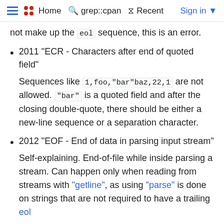Home  grep::cpan  Recent  Sign in
not make up the eol sequence, this is an error.
2011 "ECR - Characters after end of quoted field"

Sequences like 1,foo,"bar"baz,22,1 are not allowed. "bar" is a quoted field and after the closing double-quote, there should be either a new-line sequence or a separation character.
2012 "EOF - End of data in parsing input stream"

Self-explaining. End-of-file while inside parsing a stream. Can happen only when reading from streams with "getline", as using "parse" is done on strings that are not required to have a trailing eol